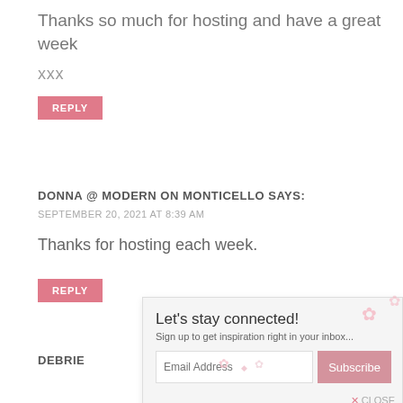Thanks so much for hosting and have a great week
xxx
REPLY
DONNA @ MODERN ON MONTICELLO SAYS:
SEPTEMBER 20, 2021 AT 8:39 AM
Thanks for hosting each week.
REPLY
[Figure (screenshot): Email subscription popup with title 'Let's stay connected!', subtitle 'Sign up to get inspiration right in your inbox...', an email input field, and a Subscribe button. Decorative pink flower elements visible. Close button at bottom right.]
DEBRIE
D
>